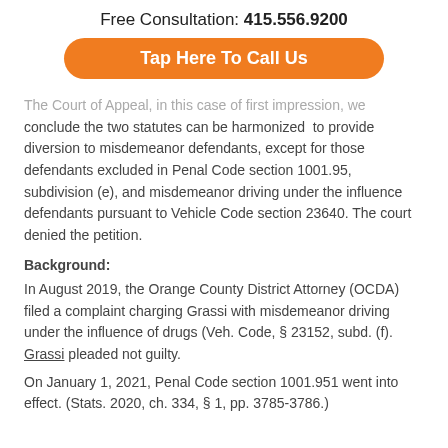Free Consultation: 415.556.9200
[Figure (other): Orange rounded button with white text reading 'Tap Here To Call Us']
The Court of Appeal, in this case of first impression, we conclude the two statutes can be harmonized to provide diversion to misdemeanor defendants, except for those defendants excluded in Penal Code section 1001.95, subdivision (e), and misdemeanor driving under the influence defendants pursuant to Vehicle Code section 23640. The court denied the petition.
Background:
In August 2019, the Orange County District Attorney (OCDA) filed a complaint charging Grassi with misdemeanor driving under the influence of drugs (Veh. Code, § 23152, subd. (f). Grassi pleaded not guilty.
On January 1, 2021, Penal Code section 1001.951 went into effect. (Stats. 2020, ch. 334, § 1, pp. 3785-3786.)